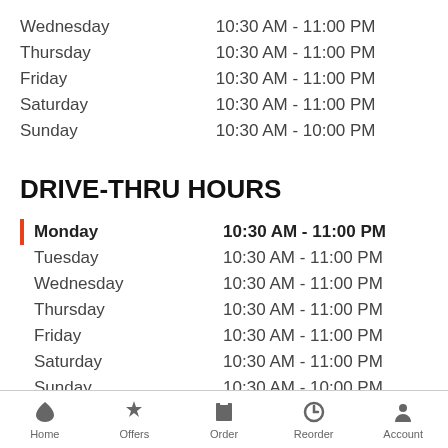| Day | Hours |
| --- | --- |
| Wednesday | 10:30 AM - 11:00 PM |
| Thursday | 10:30 AM - 11:00 PM |
| Friday | 10:30 AM - 11:00 PM |
| Saturday | 10:30 AM - 11:00 PM |
| Sunday | 10:30 AM - 10:00 PM |
DRIVE-THRU HOURS
| Day | Hours |
| --- | --- |
| Monday | 10:30 AM - 11:00 PM |
| Tuesday | 10:30 AM - 11:00 PM |
| Wednesday | 10:30 AM - 11:00 PM |
| Thursday | 10:30 AM - 11:00 PM |
| Friday | 10:30 AM - 11:00 PM |
| Saturday | 10:30 AM - 11:00 PM |
| Sunday | 10:30 AM - 10:00 PM |
Home  Offers  Order  Reorder  Account